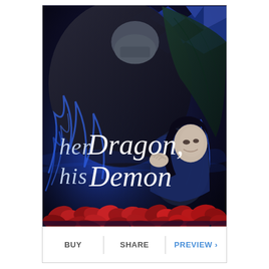[Figure (illustration): Book cover for 'her Dragon, his Demon' featuring a dark fantasy romance scene with a large male figure, a woman with dark hair, blue flames/smoke swirling around them, and red flowers at the bottom. Dark blue and black color palette with white stylized title text.]
BUY
SHARE
PREVIEW ›